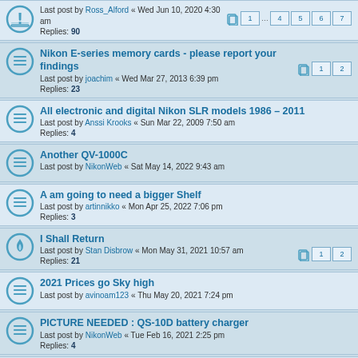Last post by Ross_Alford « Wed Jun 10, 2020 4:30 am
Replies: 90
Pages: 1 ... 4 5 6 7
Nikon E-series memory cards - please report your findings
Last post by joachim « Wed Mar 27, 2013 6:39 pm
Replies: 23
Pages: 1 2
All electronic and digital Nikon SLR models 1986 – 2011
Last post by Anssi Krooks « Sun Mar 22, 2009 7:50 am
Replies: 4
Another QV-1000C
Last post by NikonWeb « Sat May 14, 2022 9:43 am
A am going to need a bigger Shelf
Last post by artinnikko « Mon Apr 25, 2022 7:06 pm
Replies: 3
I Shall Return
Last post by Stan Disbrow « Mon May 31, 2021 10:57 am
Replies: 21
Pages: 1 2
2021 Prices go Sky high
Last post by avinoam123 « Thu May 20, 2021 7:24 pm
PICTURE NEEDED : QS-10D battery charger
Last post by NikonWeb « Tue Feb 16, 2021 2:25 pm
Replies: 4
February 2021: Nikon QV-1000C for sale on eBay
Last post by NikonWeb « Fri Feb 12, 2021 10:24 am
Replies: 2
E-series insane prices on eBay